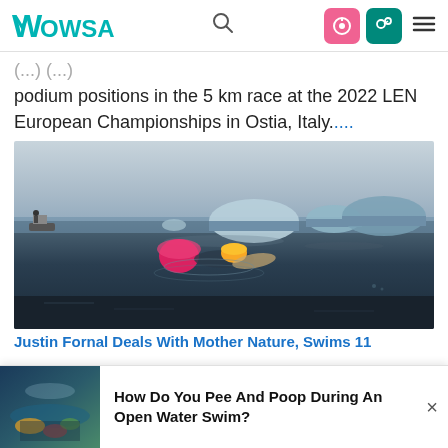WOWSA
(...) (...) podium positions in the 5 km race at the 2022 LEN European Championships in Ostia, Italy....
[Figure (photo): Open water swimmer with pink buoy and yellow swim cap in dark arctic/cold water with icebergs in background and a small boat to the left]
Justin Fornal Deals With Mother Nature, Swims 11
[Figure (photo): Thumbnail image of underwater or ocean scene]
How Do You Pee And Poop During An Open Water Swim?